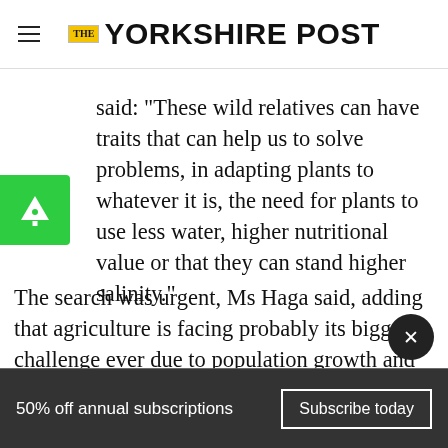THE YORKSHIRE POST
said: “These wild relatives can have traits that can help us to solve problems, in adapting plants to whatever it is, the need for plants to use less water, higher nutritional value or that they can stand higher salinity.”
The search was urgent, Ms Haga said, adding that agriculture is facing probably its biggest challenge ever due to population growth and climate change.
She said: “We also know that many people
50% off annual subscriptions   Subscribe today